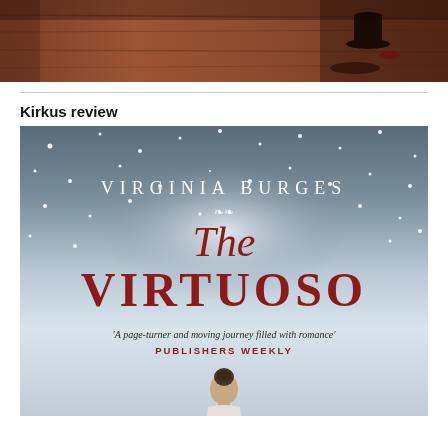[Figure (photo): Top portion of a book cover showing a dark wooden floor/surface with a shadowy figure wearing a top hat, warm reddish-brown tones]
Kirkus review
[Figure (photo): Book cover of 'The Virtuoso' by Virginia Burges. Snowy grey atmospheric background with snowflakes. Title 'The VIRTUOSO' in large dark red/crimson serif letters, author name 'VIRGINIA BURGES' in white at top. Quote: 'A page-turner and moving journey filled with romance' PUBLISHERS WEEKLY in red. Bottom shows back of a woman's head with hair in a bun.]